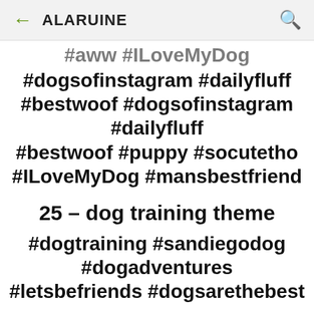← ALARUINE 🔍
#aww #ILoveMyDog #dogsofinstagram #dailyfluff #bestwoof #dogsofinstagram #dailyfluff #bestwoof #puppy #socutetho #ILoveMyDog #mansbestfriend
25 – dog training theme
#dogtraining #sandiegodog #dogadventures #letsbefriends #dogsarethebest